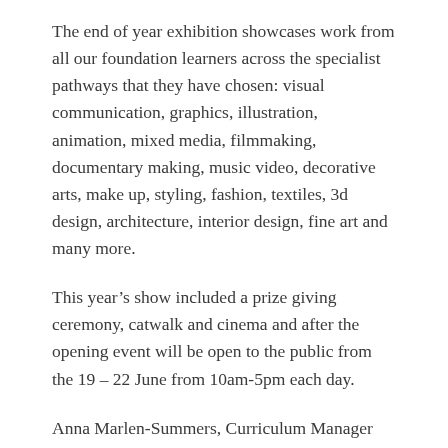The end of year exhibition showcases work from all our foundation learners across the specialist pathways that they have chosen: visual communication, graphics, illustration, animation, mixed media, filmmaking, documentary making, music video, decorative arts, make up, styling, fashion, textiles, 3d design, architecture, interior design, fine art and many more.
This year’s show included a prize giving ceremony, catwalk and cinema and after the opening event will be open to the public from the 19 – 22 June from 10am-5pm each day.
Anna Marlen-Summers, Curriculum Manager for Art and Design said: “We are incredibly proud of the work that our learners have exhibited this year as well as the